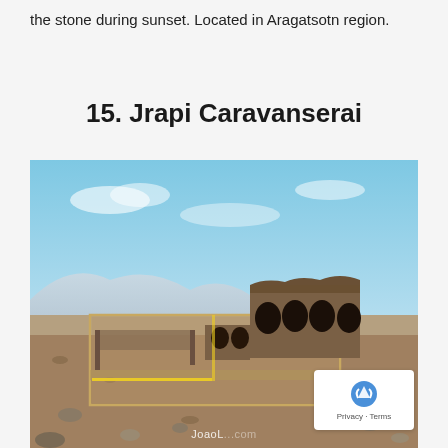the stone during sunset. Located in Aragatsotn region.
15. Jrapi Caravanserai
[Figure (photo): Aerial view of Jrapi Caravanserai ruins in Armenia — stone walls with large arched openings on the right structure, open courtyard with yellow outline marking, rocky arid landscape under blue sky with light clouds. Watermark 'JoaoL...' at bottom.]